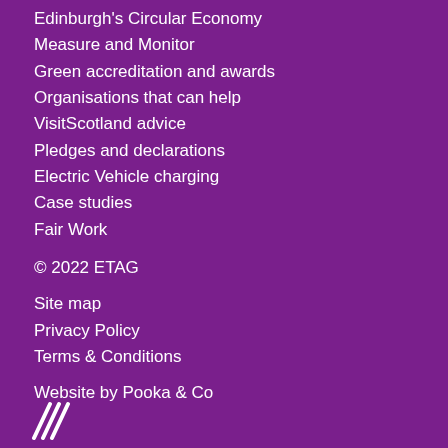Edinburgh's Circular Economy
Measure and Monitor
Green accreditation and awards
Organisations that can help
VisitScotland advice
Pledges and declarations
Electric Vehicle charging
Case studies
Fair Work
© 2022 ETAG
Site map
Privacy Policy
Terms & Conditions
Website by Pooka & Co
[Figure (logo): Scottish Enterprise logo — stylised diagonal lines in white]